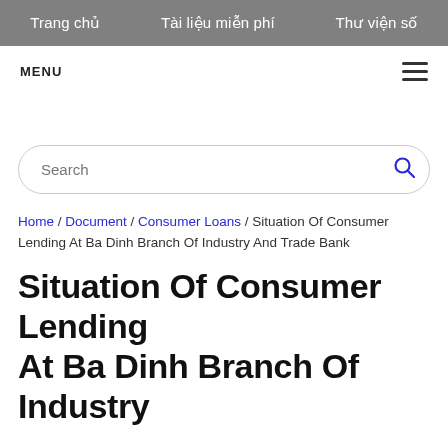Trang chủ   Tài liệu miễn phí   Thư viện số
MENU
Search
Home / Document / Consumer Loans / Situation Of Consumer Lending At Ba Dinh Branch Of Industry And Trade Bank
Situation Of Consumer Lending At Ba Dinh Branch Of Industry